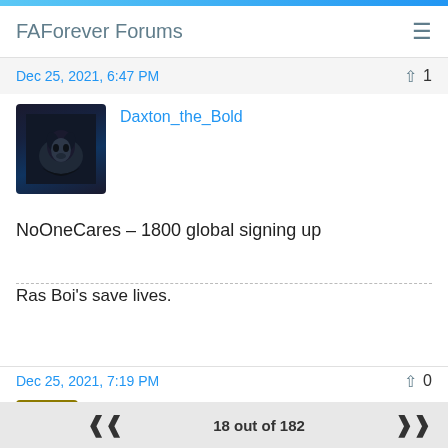FAForever Forums
Dec 25, 2021, 6:47 PM
Daxton_the_Bold
[Figure (photo): User avatar showing a dark creature/wolf in a dark background]
NoOneCares – 1800 global signing up
Ras Boi's save lives.
Dec 25, 2021, 7:19 PM
Nevtron
18 out of 182